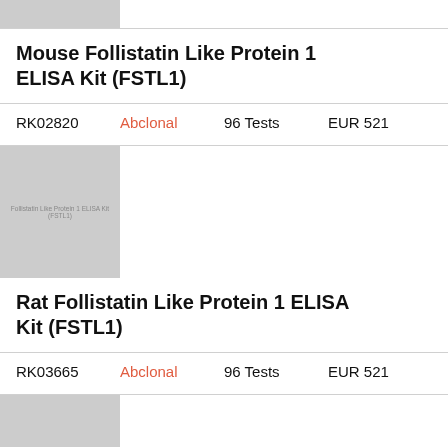[Figure (photo): Partial product image for Mouse Follistatin Like Protein 1 ELISA Kit (FSTL1), cropped at top]
Mouse Follistatin Like Protein 1 ELISA Kit (FSTL1)
| RK02820 | Abclonal | 96 Tests | EUR 521 |
[Figure (photo): Product image for Rat Follistatin Like Protein 1 ELISA Kit (FSTL1) with text overlay reading 'Follistatin Like Protein 1 ELISA Kit (FSTL1)']
Rat Follistatin Like Protein 1 ELISA Kit (FSTL1)
| RK03665 | Abclonal | 96 Tests | EUR 521 |
[Figure (photo): Partial product image at the bottom of the page, cropped]